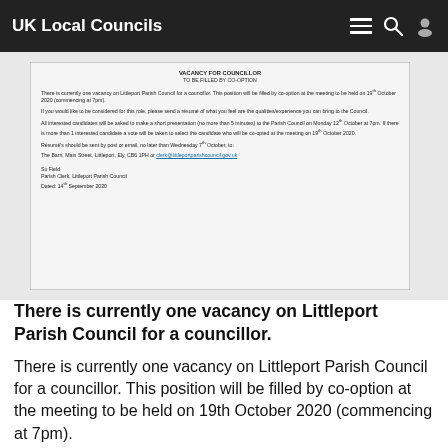UK Local Councils
[Figure (screenshot): Scanned document from Littleport Parish Council about a vacancy for a councillor, including details about co-option, résumé submission, and contact information. Signed by Su Field, Parish Clerk, dated 14th September 2020.]
There is currently one vacancy on Littleport Parish Council for a councillor.
There is currently one vacancy on Littleport Parish Council for a councillor. This position will be filled by co-option at the meeting to be held on 19th October 2020 (commencing at 7pm).
If you would like to be considered for this role, please send a résumé of what you feel are the qualities/experience you can...
Read More »
Posted: Mon, 14 Sep 2020 10:49 by Diane Bayliss